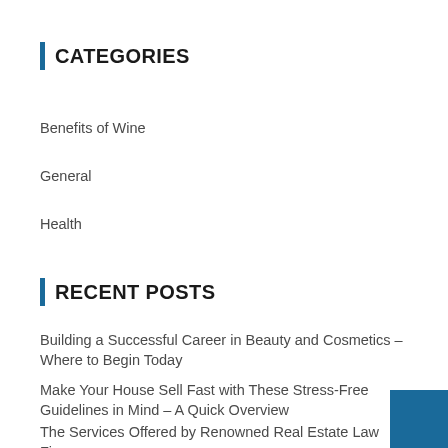CATEGORIES
Benefits of Wine
General
Health
RECENT POSTS
Building a Successful Career in Beauty and Cosmetics – Where to Begin Today
Make Your House Sell Fast with These Stress-Free Guidelines in Mind – A Quick Overview
The Services Offered by Renowned Real Estate Law Fi… – A Must-Read Overview